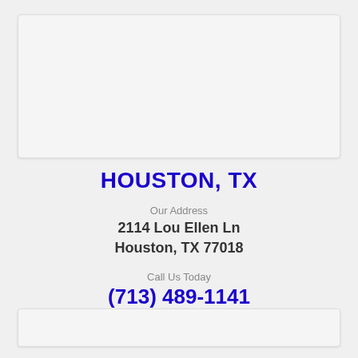[Figure (other): Top card placeholder area, light gray box]
HOUSTON, TX
Our Address
2114 Lou Ellen Ln
Houston, TX 77018
Call Us Today
(713) 489-1141
VIEW LOCATION ›
[Figure (other): Bottom card placeholder area, light gray box]